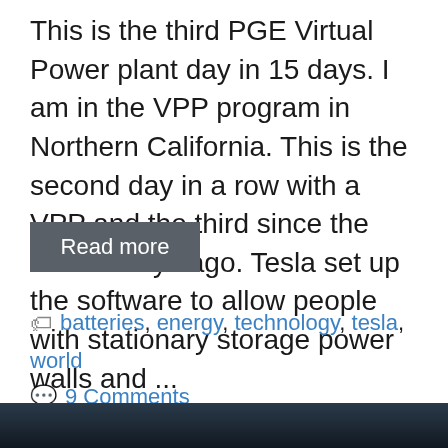This is the third PGE Virtual Power plant day in 15 days. I am in the VPP program in Northern California. This is the second day in a row with a VPP and the third since the first 15 days ago. Tesla set up the software to allow people with stationary storage power walls and ...
Read more
batteries, energy, technology, tesla, world
9 Comments
[Figure (photo): Dark photograph strip at bottom of page, appears to show aerial or space-related imagery]